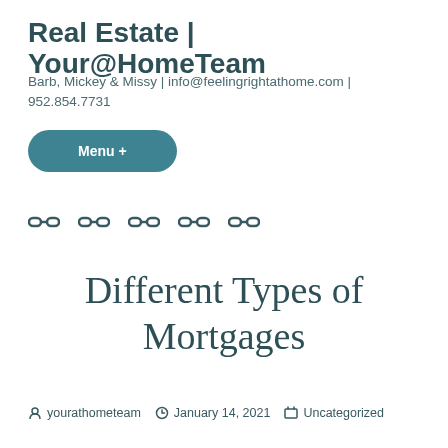Real Estate | Your@HomeTeam
Barb, Mickey & Missy | info@feelingrightathome.com | 952.854.7731
Menu +
[Figure (other): Five chain/link icons in a row representing navigation links]
Different Types of Mortgages
yourathometeam  January 14, 2021  Uncategorized